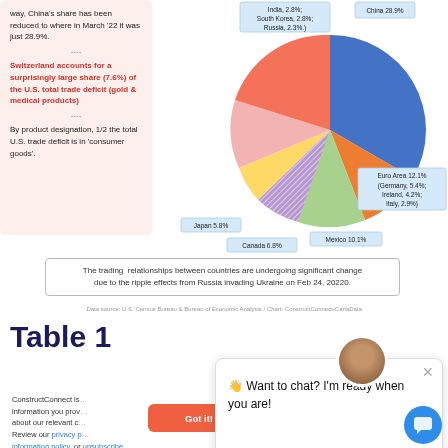way, China's share has been reduced to where in March '22 it was just 28.9%. ---- Switzerland accounts for a surprisingly large share (7.6%) of the U.S. total trade deficit (gold & medical products) ---- By product designation, 1/2 the total U.S. trade deficit is in 'consumer goods'.
[Figure (pie-chart): U.S. Trade Deficit by Country/Region (March 2022)]
The trading relationships between countries are undergoing significant change due to the ripple effects from Russia invading Ukraine on Feb 24, 20220.
Data source: U.S. Census Bureau & Bureau of Economic Analysis / Chart: ConstructConnect-CanaData.
Table 1
ConstructConnect is… information you prov… about our relevant c… Review our privacy p… information policy, or unsubscribe.